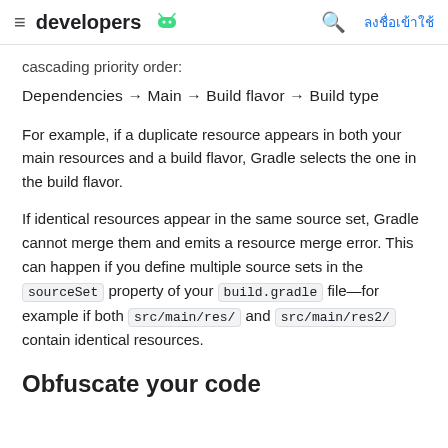developers [android logo] [search] ลงชื่อเข้าใช้
cascading priority order:
Dependencies → Main → Build flavor → Build type
For example, if a duplicate resource appears in both your main resources and a build flavor, Gradle selects the one in the build flavor.
If identical resources appear in the same source set, Gradle cannot merge them and emits a resource merge error. This can happen if you define multiple source sets in the sourceSet property of your build.gradle file—for example if both src/main/res/ and src/main/res2/ contain identical resources.
Obfuscate your code